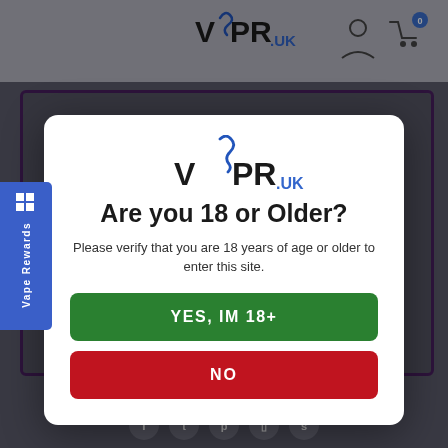[Figure (screenshot): VSPR.UK website header with logo and user/cart icons on grey background]
[Figure (logo): VSPR.UK modal logo with smoke/vape swirl icon above the text]
Are you 18 or Older?
Please verify that you are 18 years of age or older to enter this site.
YES, IM 18+
NO
Vape Rewards